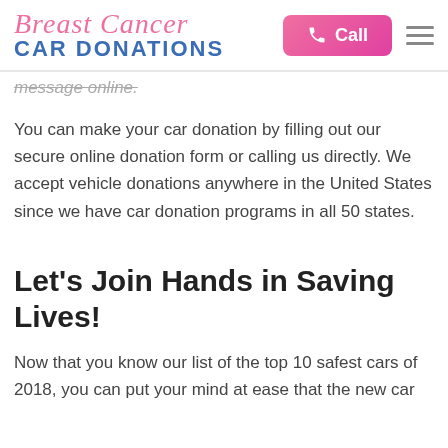Breast Cancer CAR DONATIONS
message online.
You can make your car donation by filling out our secure online donation form or calling us directly. We accept vehicle donations anywhere in the United States since we have car donation programs in all 50 states.
Let's Join Hands in Saving Lives!
Now that you know our list of the top 10 safest cars of 2018, you can put your mind at ease that the new car